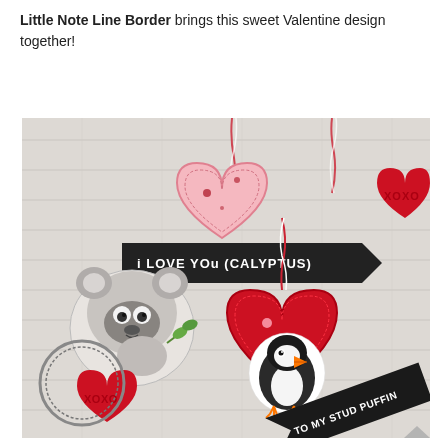Little Note Line Border brings this sweet Valentine design together!
[Figure (photo): Valentine's Day craft photo showing heart-shaped shaker cards decorated with cute animal stickers (a koala and a puffin), red and white baker's twine, black banner tags reading 'i LOVE YOu (CALYPTUS)' and 'TO MY STUD PUFFIN', red XOXO heart embellishments, and stitched heart die cuts on a white wood background.]